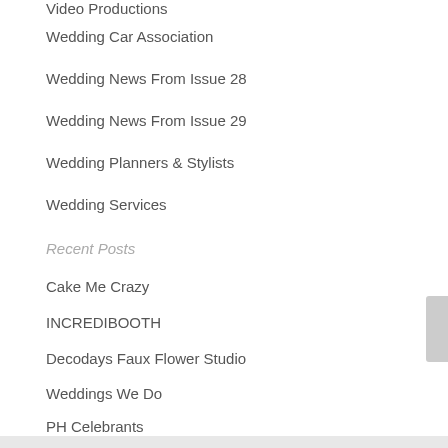Video Productions
Wedding Car Association
Wedding News From Issue 28
Wedding News From Issue 29
Wedding Planners & Stylists
Wedding Services
Recent Posts
Cake Me Crazy
INCREDIBOOTH
Decodays Faux Flower Studio
Weddings We Do
PH Celebrants